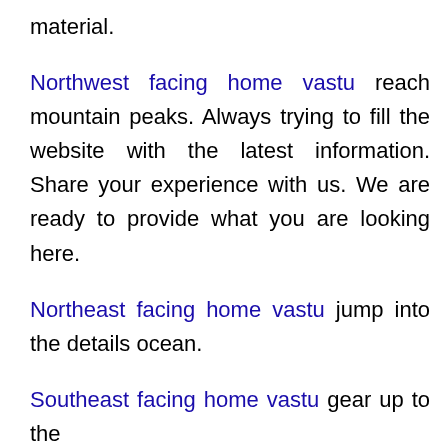material.
Northwest facing home vastu reach mountain peaks. Always trying to fill the website with the latest information. Share your experience with us. We are ready to provide what you are looking here.
Northeast facing home vastu jump into the details ocean.
Southeast facing home vastu gear up to the